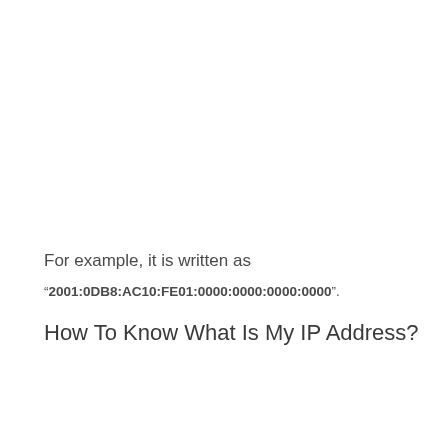For example, it is written as
“2001:0DB8:AC10:FE01:0000:0000:0000:0000”.
How To Know What Is My IP Address?